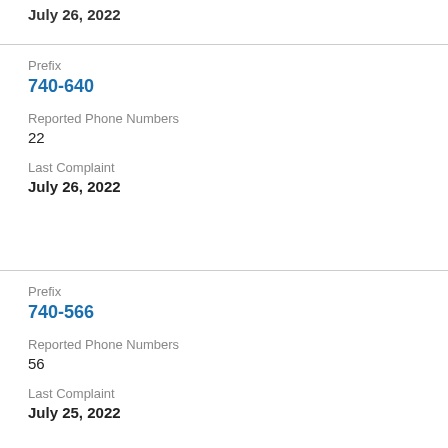July 26, 2022
Prefix
740-640
Reported Phone Numbers
22
Last Complaint
July 26, 2022
Prefix
740-566
Reported Phone Numbers
56
Last Complaint
July 25, 2022